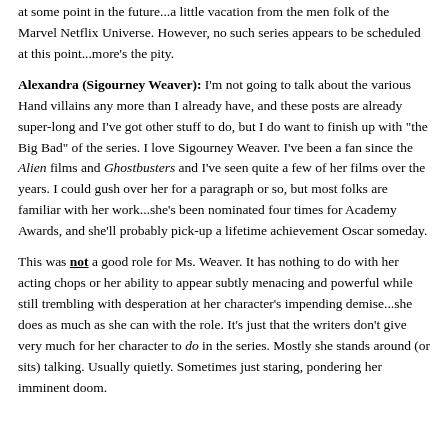at some point in the future...a little vacation from the men folk of the Marvel Netflix Universe. However, no such series appears to be scheduled at this point...more's the pity.
Alexandra (Sigourney Weaver): I'm not going to talk about the various Hand villains any more than I already have, and these posts are already super-long and I've got other stuff to do, but I do want to finish up with "the Big Bad" of the series. I love Sigourney Weaver. I've been a fan since the Alien films and Ghostbusters and I've seen quite a few of her films over the years. I could gush over her for a paragraph or so, but most folks are familiar with her work...she's been nominated four times for Academy Awards, and she'll probably pick-up a lifetime achievement Oscar someday.
This was not a good role for Ms. Weaver. It has nothing to do with her acting chops or her ability to appear subtly menacing and powerful while still trembling with desperation at her character's impending demise...she does as much as she can with the role. It's just that the writers don't give very much for her character to do in the series. Mostly she stands around (or sits) talking. Usually quietly. Sometimes just staring, pondering her imminent doom.